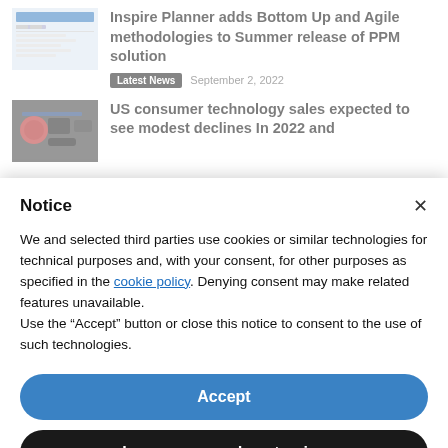[Figure (screenshot): Thumbnail screenshot of a software interface (PPM solution planner)]
Inspire Planner adds Bottom Up and Agile methodologies to Summer release of PPM solution
Latest News   September 2, 2022
[Figure (photo): Thumbnail photo of consumer electronics and gadgets (headphones, cameras, phones)]
US consumer technology sales expected to see modest declines In 2022 and
Notice
We and selected third parties use cookies or similar technologies for technical purposes and, with your consent, for other purposes as specified in the cookie policy. Denying consent may make related features unavailable.
Use the “Accept” button or close this notice to consent to the use of such technologies.
Accept
Learn more and customise